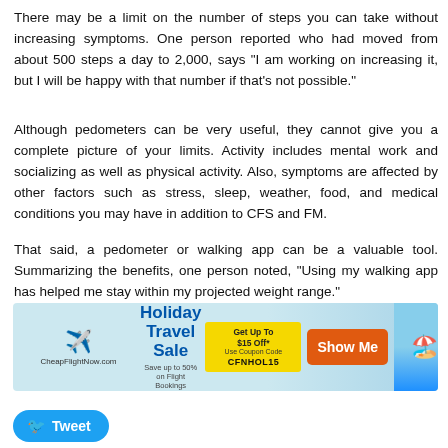There may be a limit on the number of steps you can take without increasing symptoms. One person reported who had moved from about 500 steps a day to 2,000, says "I am working on increasing it, but I will be happy with that number if that's not possible."
Although pedometers can be very useful, they cannot give you a complete picture of your limits. Activity includes mental work and socializing as well as physical activity. Also, symptoms are affected by other factors such as stress, sleep, weather, food, and medical conditions you may have in addition to CFS and FM.
That said, a pedometer or walking app can be a valuable tool. Summarizing the benefits, one person noted, "Using my walking app has helped me stay within my projected weight range."
[Figure (infographic): CheapFlightNow.com Holiday Travel Sale advertisement banner. Get Up To $15 Off* Use Coupon Code CFNHOL15. Show Me button. Beach scene on right.]
Tweet